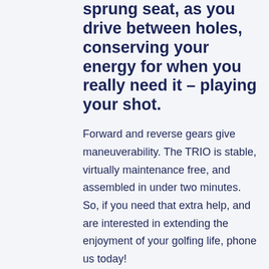sprung seat, as you drive between holes, conserving your energy for when you really need it – playing your shot.
Forward and reverse gears give maneuverability. The TRIO is stable, virtually maintenance free, and assembled in under two minutes. So, if you need that extra help, and are interested in extending the enjoyment of your golfing life, phone us today!
Get around for years to come! Major suppliers to the handigolf